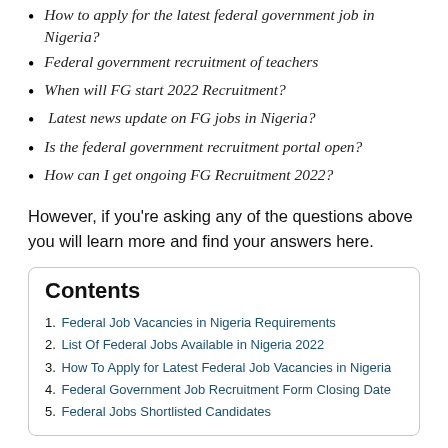How to apply for the latest federal government job in Nigeria?
Federal government recruitment of teachers
When will FG start 2022 Recruitment?
Latest news update on FG jobs in Nigeria?
Is the federal government recruitment portal open?
How can I get ongoing FG Recruitment 2022?
However, if you're asking any of the questions above you will learn more and find your answers here.
| 1. Federal Job Vacancies in Nigeria Requirements |
| 2. List Of Federal Jobs Available in Nigeria 2022 |
| 3. How To Apply for Latest Federal Job Vacancies in Nigeria |
| 4. Federal Government Job Recruitment Form Closing Date |
| 5. Federal Jobs Shortlisted Candidates |